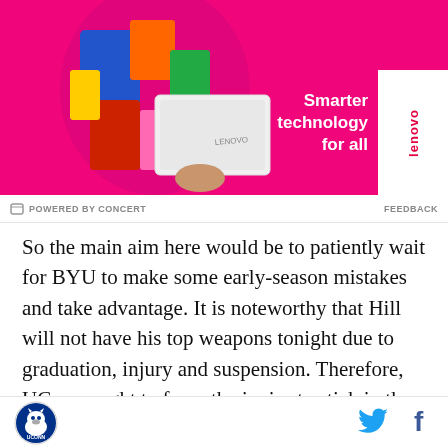[Figure (photo): Lenovo advertisement banner: person in colorful outfit holding a white Lenovo laptop on a hot pink background. Text reads 'Smarter technology for all' with Lenovo logo in white box on right.]
POWERED BY CONCERT   FEEDBACK
So the main aim here would be to patiently wait for BYU to make some early-season mistakes and take advantage. It is noteworthy that Hill will not have his top weapons tonight due to graduation, injury and suspension. Therefore, UConn ought to force the junior to stick in the pocket, lead long drives and hope he errs in the process. After all, the Cougars did stall
[Figure (logo): UConn Huskies logo circle with husky dog illustration]
[Figure (logo): Twitter bird icon in blue]
[Figure (logo): Facebook f icon in dark blue]